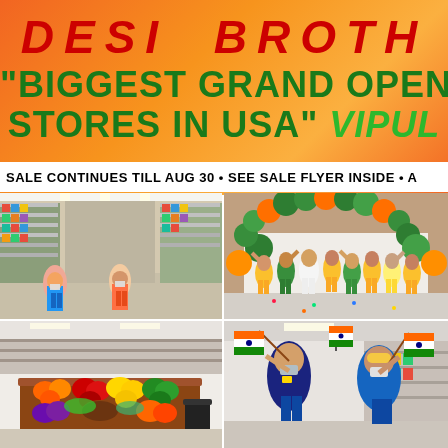DESI BROTH
"BIGGEST GRAND OPENING STORES IN USA" VIPUL
SALE CONTINUES TILL AUG 30 • SEE SALE FLYER INSIDE • A
[Figure (photo): Interior of Desi Brothers grocery store showing aisles with shelves of products and customers wearing masks]
[Figure (photo): Grand opening celebration with staff in yellow and green outfits posing under a balloon arch decorated in Indian flag colors]
[Figure (photo): Fresh produce display inside the store showing colorful fruits and vegetables arranged in bins]
[Figure (photo): Two people in blue uniforms holding Indian flags, wearing masks, celebrating the grand opening]